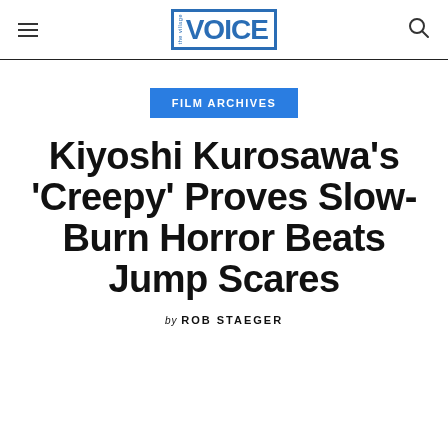the village VOICE
FILM ARCHIVES
Kiyoshi Kurosawa's 'Creepy' Proves Slow-Burn Horror Beats Jump Scares
by ROB STAEGER